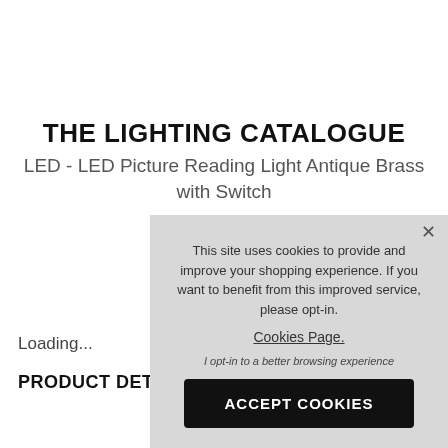THE LIGHTING CATALOGUE
LED - LED Picture Reading Light Antique Brass with Switch
Loading...
PRODUCT DETAILS
This site uses cookies to provide and improve your shopping experience. If you want to benefit from this improved service, please opt-in. Cookies Page.
I opt-in to a better browsing experience
ACCEPT COOKIES